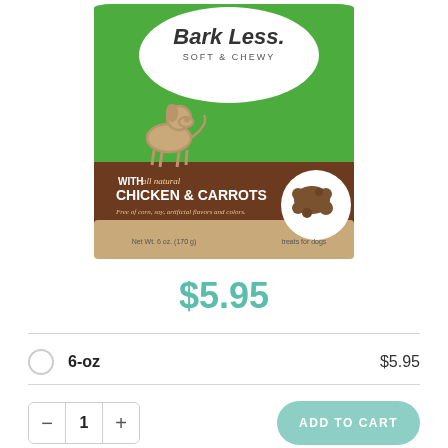[Figure (photo): Product photo of 'Bark Less Soft & Chewy' dog treats bag with green and brown packaging, featuring chicken and carrots flavor, with illustration of a sitting dog and dog treat biscuits shown on the bag. Text on bag: 'Bark Less. SOFT & CHEWY', 'WITH all natural CHICKEN & CARROTS', 'Free of corn, soy, artificial flavors and colors.', 'Net Wt. 6oz. (170g)', 'treats for dogs']
$5.95
6-oz   $5.95
1   ADD TO CART